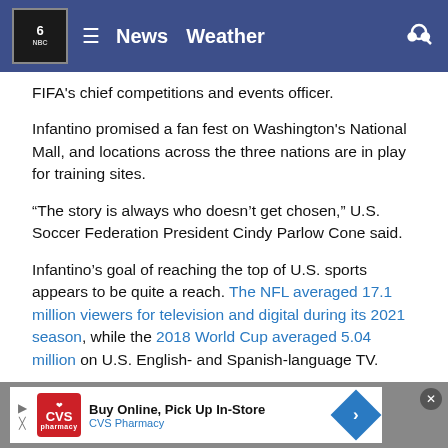TV 6 NBC — News  Weather
FIFA's chief competitions and events officer.
Infantino promised a fan fest on Washington's National Mall, and locations across the three nations are in play for training sites.
“The story is always who doesn’t get chosen,” U.S. Soccer Federation President Cindy Parlow Cone said.
Infantino’s goal of reaching the top of U.S. sports appears to be quite a reach. The NFL averaged 17.1 million viewers for television and digital during its 2021 season, while the 2018 World Cup averaged 5.04 million on U.S. English- and Spanish-language TV.
[Figure (screenshot): CVS Pharmacy advertisement banner: Buy Online, Pick Up In-Store]